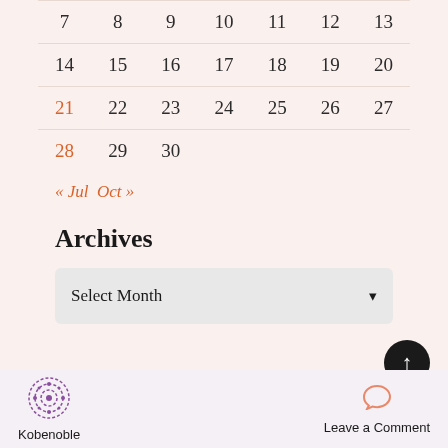| 7 | 8 | 9 | 10 | 11 | 12 | 13 |
| 14 | 15 | 16 | 17 | 18 | 19 | 20 |
| 21 | 22 | 23 | 24 | 25 | 26 | 27 |
| 28 | 29 | 30 |  |  |  |  |
« Jul  Oct »
Archives
Select Month
[Figure (logo): Kobenoble purple dotted logo icon]
Kobenoble
Leave a Comment